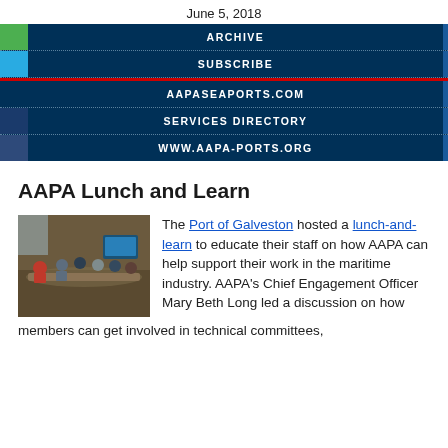June 5, 2018
ARCHIVE
SUBSCRIBE
AAPASEAPORTS.COM
SERVICES DIRECTORY
WWW.AAPA-PORTS.ORG
AAPA Lunch and Learn
[Figure (photo): People seated around a conference table at a lunch-and-learn meeting]
The Port of Galveston hosted a lunch-and-learn to educate their staff on how AAPA can help support their work in the maritime industry. AAPA's Chief Engagement Officer Mary Beth Long led a discussion on how members can get involved in technical committees,